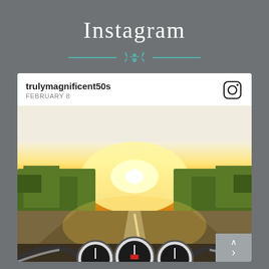Instagram
[Figure (illustration): Teal decorative divider with floral/leaf ornament in center flanked by horizontal lines]
[Figure (screenshot): Instagram post card from user 'trulymagnificent50s' dated February 8, showing a motorcycle POV photo on an open road with a bright golden sunset ahead, trees on both sides, and motorcycle gauges/handlebars visible at bottom. Navigation arrows visible at bottom right.]